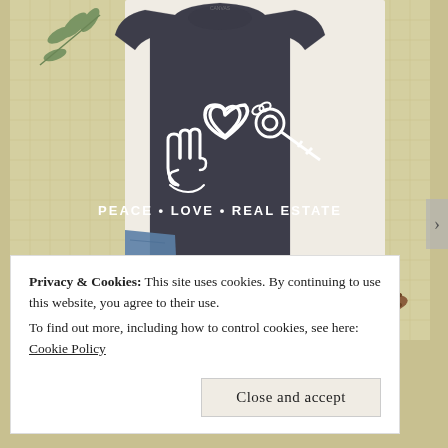[Figure (photo): A dark grey heather t-shirt with white graphic design showing a peace sign hand, a heart, and keys with the text 'PEACE • LOVE • REAL ESTATE'. The shirt is laid flat on a light surface surrounded by eucalyptus leaves, folded jeans, and brown leather sandals. The background has a yellow-tan graph paper/grid texture.]
Privacy & Cookies: This site uses cookies. By continuing to use this website, you agree to their use.
To find out more, including how to control cookies, see here: Cookie Policy
Close and accept